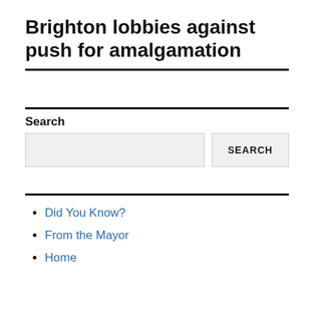Brighton lobbies against push for amalgamation
Search
Did You Know?
From the Mayor
Home